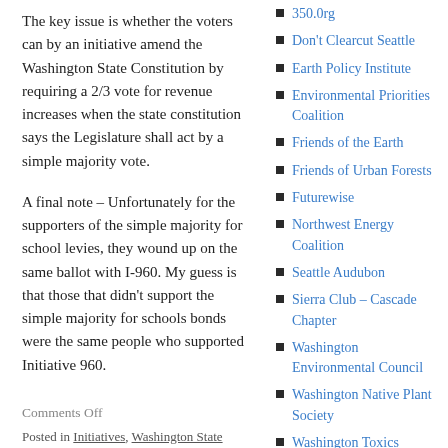The key issue is whether the voters can by an initiative amend the Washington State Constitution by requiring a 2/3 vote for revenue increases when the state constitution says the Legislature shall act by a simple majority vote.
A final note – Unfortunately for the supporters of the simple majority for school levies, they wound up on the same ballot with I-960. My guess is that those that didn't support the simple majority for schools bonds were the same people who supported Initiative 960.
Comments Off
Posted in Initiatives, Washington State Legislature
Tagged Eyman, Initiatiove 960, November 2007 Election
350.0rg
Don't Clearcut Seattle
Earth Policy Institute
Environmental Priorities Coalition
Friends of the Earth
Friends of Urban Forests
Futurewise
Northwest Energy Coalition
Seattle Audubon
Sierra Club – Cascade Chapter
Washington Environmental Council
Washington Native Plant Society
Washington Toxics